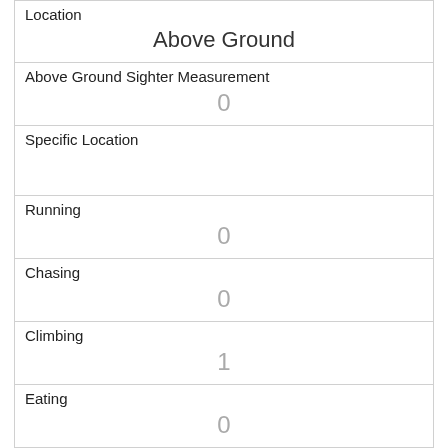| Location | Above Ground |
| Above Ground Sighter Measurement | 0 |
| Specific Location |  |
| Running | 0 |
| Chasing | 0 |
| Climbing | 1 |
| Eating | 0 |
| Foraging | 0 |
| Other Activities |  |
| Kuks | 0 |